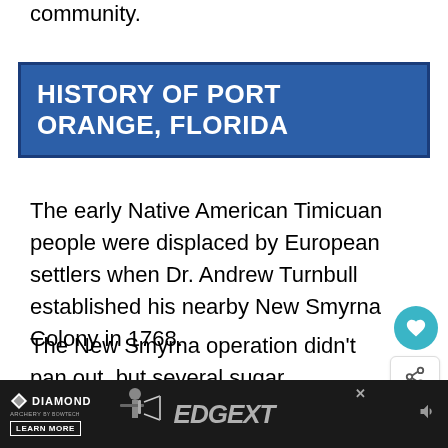community.
HISTORY OF PORT ORANGE, FLORIDA
The early Native American Timicuan people were displaced by European settlers when Dr. Andrew Turnbull established his nearby New Smyrna Colony in 1768.
The New Smyrna operation didn't pan out, but several sugar plantations were established in the years that followed. An ancient reminder of these days is the Dunlawton Sugar Mill.
[Figure (screenshot): Web page UI overlay showing a teal heart/like button with count 26, a share button, and a 'What's Next' recommendation panel showing 'Florida Cracker...' with a food image thumbnail.]
[Figure (photo): Diamond Archery advertisement banner at the bottom showing a bow and compound archery equipment, with 'EDGE XT' branding text, 'LEARN MORE' button, and a small speaker/audio icon on the right.]